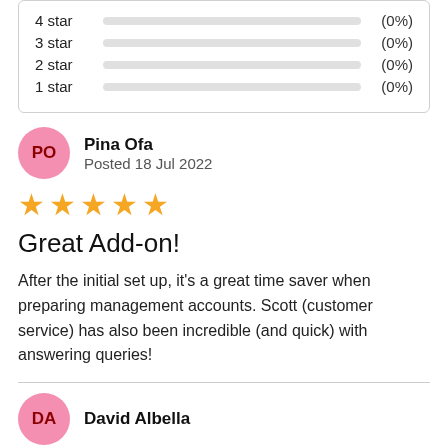[Figure (bar-chart): Star rating distribution]
Pina Ofa
Posted 18 Jul 2022
[Figure (other): 5-star rating shown as orange star icons]
Great Add-on!
After the initial set up, it's a great time saver when preparing management accounts. Scott (customer service) has also been incredible (and quick) with answering queries!
David Albella